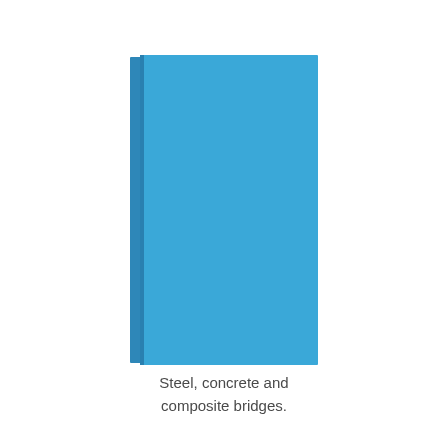[Figure (illustration): A blue hardcover book illustration shown upright, with a slightly darker blue spine visible on the left side. The cover is a solid medium blue color with no text or imagery.]
Steel, concrete and composite bridges.